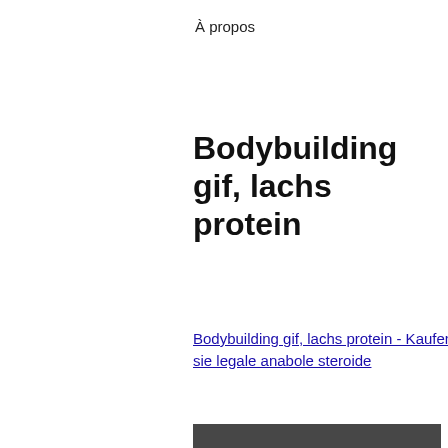À propos
Bodybuilding gif, lachs protein
Bodybuilding gif, lachs protein - Kaufen sie legale anabole steroide
[Figure (photo): Blurred dark bodybuilding image with colorful elements at the bottom]
[Figure (photo): Partially visible blurred image at the bottom of the page]